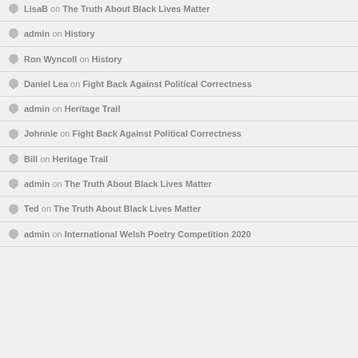LisaB on The Truth About Black Lives Matter
admin on History
Ron Wyncoll on History
Daniel Lea on Fight Back Against Political Correctness
admin on Heritage Trail
Johnnie on Fight Back Against Political Correctness
Bill on Heritage Trail
admin on The Truth About Black Lives Matter
Ted on The Truth About Black Lives Matter
admin on International Welsh Poetry Competition 2020